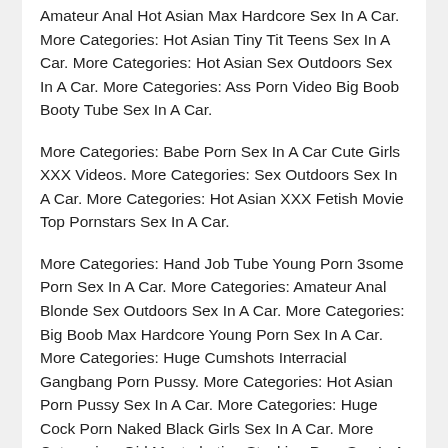Amateur Anal Hot Asian Max Hardcore Sex In A Car. More Categories: Hot Asian Tiny Tit Teens Sex In A Car. More Categories: Hot Asian Sex Outdoors Sex In A Car. More Categories: Ass Porn Video Big Boob Booty Tube Sex In A Car.
More Categories: Babe Porn Sex In A Car Cute Girls XXX Videos. More Categories: Sex Outdoors Sex In A Car. More Categories: Hot Asian XXX Fetish Movie Top Pornstars Sex In A Car.
More Categories: Hand Job Tube Young Porn 3some Porn Sex In A Car. More Categories: Amateur Anal Blonde Sex Outdoors Sex In A Car. More Categories: Big Boob Max Hardcore Young Porn Sex In A Car. More Categories: Huge Cumshots Interracial Gangbang Porn Pussy. More Categories: Hot Asian Porn Pussy Sex In A Car. More Categories: Huge Cock Porn Naked Black Girls Sex In A Car. More Categories: Girl Masturbating Stocking Porn Sex In A Car.
More Categories: Amateur Anal Girl Masturbating Sex In A